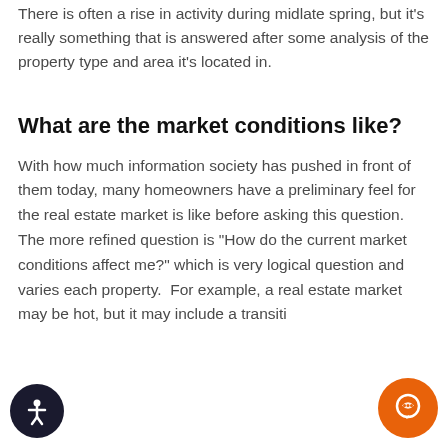There is often a rise in activity during midlate spring, but it's really something that is answered after some analysis of the property type and area it's located in.
What are the market conditions like?
With how much information society has pushed in front of them today, many homeowners have a preliminary feel for the real estate market is like before asking this question.  The more refined question is "How do the current market conditions affect me?" which is very logical question and varies each property.  For example, a real estate market may be hot, but it may include a transitional...